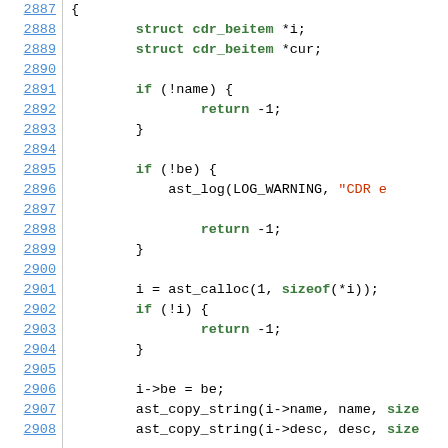[Figure (screenshot): Source code viewer showing C code lines 2887-2908 with line numbers on the left, syntax highlighted in green (keywords), red (strings), and black (identifiers/punctuation).]